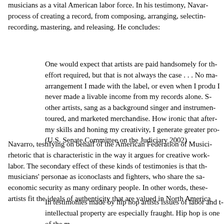musicians as a vital American labor force. In his testimony, Navar... process of creating a record, from composing, arranging, selectin... recording, mastering, and releasing. He concludes:
One would expect that artists are paid handsomely for th... effort required, but that is not always the case . . . No ma... arrangement I made with the label, or even when I produ... I never made a livable income from my records alone. S... other artists, sang as a background singer and instrumen... toured, and marketed merchandise. How ironic that after... my skills and honing my creativity, I generate greater pro... (U.S. Senate Committee on the Judiciary 2002)
Navarro, testifying on behalf of the American Federation of Musici... rhetoric that is characteristic in the way it argues for creative work... labor. The secondary effect of these kinds of testimonies is that th... musicians' personae as iconoclasts and fighters, who share the sa... economic security as many ordinary people. In other words, these... artists fit the ideals of authenticity that are valued in North America...
In testimonies made by hip hop artists issues of labor and t... intellectual property are especially fraught. Hip hop is one of the m...